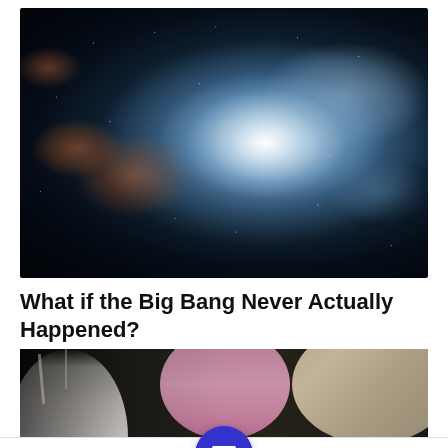[Figure (photo): Space nebula photograph showing a bright stellar nursery with blue-white gas clouds and stars against a dark background, resembling the Orion Nebula or similar deep-space object]
What if the Big Bang Never Actually Happened?
[Figure (photo): Photo of women wearing hijabs, one holding a smartphone, in what appears to be a crowd or gathering]
[Figure (other): Mobile app navigation bar with Twitter, Facebook, hamburger menu (blue circle), bookmark, and email icons, plus an advertisement for a local auto business in Ashburn showing OPEN 7:30AM-6PM at 43781 Parkhurst Plaza, Ashburn]